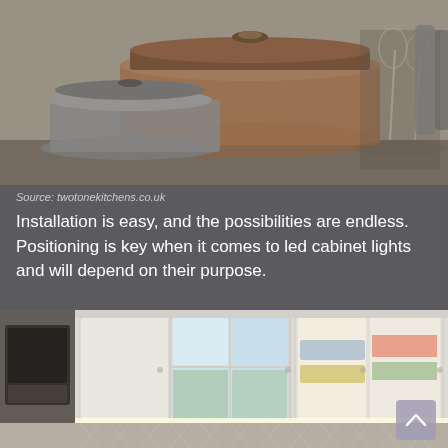[Figure (photo): Close-up photo of stainless steel pots and cookware on a kitchen counter, with glassware and bar tools in the background]
Source: twotonekitchens.co.uk
Installation is easy, and the possibilities are endless. Positioning is key when it comes to led cabinet lights and will depend on their purpose.
[Figure (photo): Bright white kitchen with glass-front upper cabinets illuminated by LED under-cabinet lighting, herringbone tile backsplash, farmhouse sink, and small appliances on the counter]